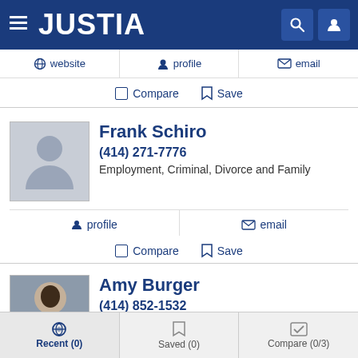JUSTIA
website  profile  email
Compare  Save
Frank Schiro
(414) 271-7776
Employment, Criminal, Divorce and Family
profile  email
Compare  Save
Amy Burger
(414) 852-1532
Employment, Elder, Estate Planning and Personal Injury
Recent (0)  Saved (0)  Compare (0/3)